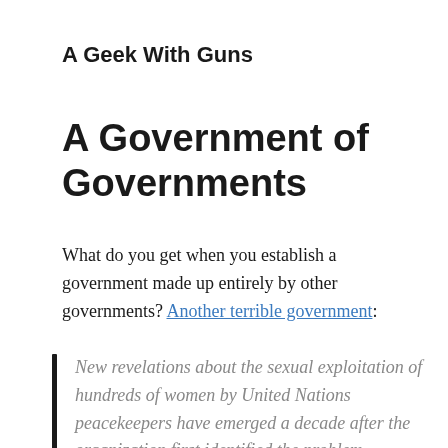A Geek With Guns
A Government of Governments
What do you get when you establish a government made up entirely by other governments? Another terrible government:
New revelations about the sexual exploitation of hundreds of women by United Nations peacekeepers have emerged a decade after the organization first identified the problem